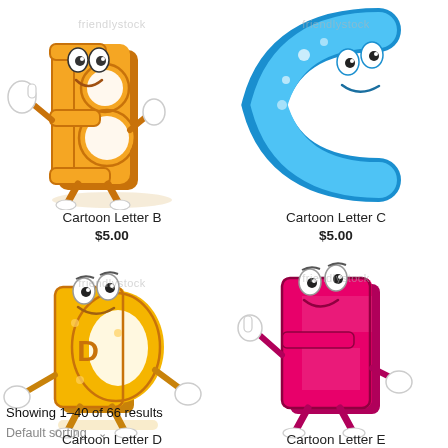[Figure (illustration): Cartoon letter B character with orange/yellow color, thumbs up gesture, smiling face, with 'friendlystock' watermark overlay]
Cartoon Letter B
$5.00
[Figure (illustration): Cartoon letter C character in blue/teal color, shiny with dots, with 'friendlystock' watermark overlay]
Cartoon Letter C
$5.00
[Figure (illustration): Cartoon letter D character in gold/yellow color with eyes and smiling face, arms out, with 'friendlystock' watermark overlay]
Showing 1-40 of 66 results
Default sorting
Cartoon Letter D
[Figure (illustration): Cartoon letter E character in pink/magenta color with eyes, smiling, pointing finger, with 'friendlystock' watermark overlay]
Cartoon Letter E